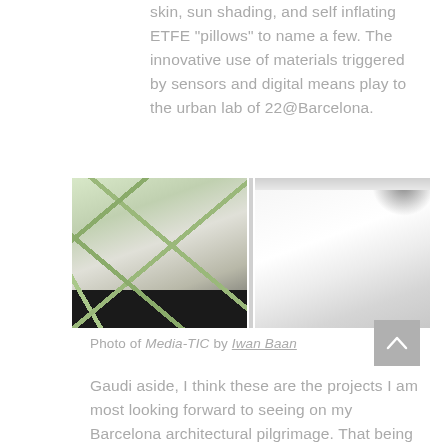skin, sun shading, and self inflating ETFE "pillows" to name a few. The innovative use of materials triggered by sensors and digital means play to the urban lab of 22@Barcelona.
[Figure (photo): Two side-by-side photos of Media-TIC building. Left photo shows green structural steel truss framework interior with diagonal beams and railings. Right photo shows a bright white minimalist interior office space with high ceilings.]
Photo of Media-TIC by Iwan Baan
Gaudi aside, I think these are the projects I am most looking forward to seeing on my Barcelona architectural pilgrimage. That being said, I also plan on seeing as many